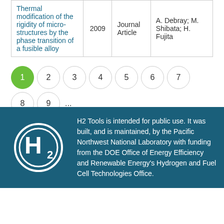| Title | Year | Type | Author |
| --- | --- | --- | --- |
| Thermal modification of the rigidity of micro-structures by the phase transition of a fusible alloy | 2009 | Journal Article | A. Debray; M. Shibata; H. Fujita |
Pagination: 1 (active), 2, 3, 4, 5, 6, 7, 8, 9, ..., >>, Last »
[Figure (logo): H2 Tools logo — stylized H2 in a circle]
H2 Tools is intended for public use. It was built, and is maintained, by the Pacific Northwest National Laboratory with funding from the DOE Office of Energy Efficiency and Renewable Energy's Hydrogen and Fuel Cell Technologies Office.